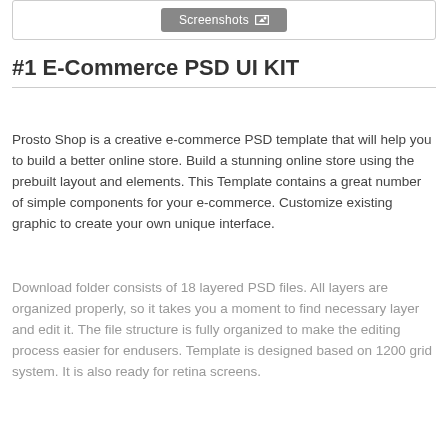[Figure (screenshot): A button labeled 'Screenshots' with an image icon, inside a bordered box]
#1 E-Commerce PSD UI KIT
Prosto Shop is a creative e-commerce PSD template that will help you to build a better online store. Build a stunning online store using the prebuilt layout and elements. This Template contains a great number of simple components for your e-commerce. Customize existing graphic to create your own unique interface.
Download folder consists of 18 layered PSD files. All layers are organized properly, so it takes you a moment to find necessary layer and edit it. The file structure is fully organized to make the editing process easier for endusers. Template is designed based on 1200 grid system. It is also ready for retina screens.